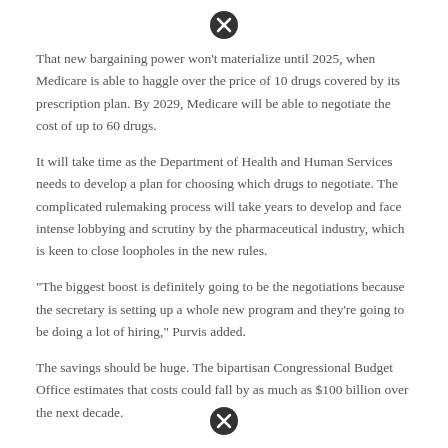[Figure (other): Close/cancel icon (circle with X) at top of page]
That new bargaining power won't materialize until 2025, when Medicare is able to haggle over the price of 10 drugs covered by its prescription plan. By 2029, Medicare will be able to negotiate the cost of up to 60 drugs.
It will take time as the Department of Health and Human Services needs to develop a plan for choosing which drugs to negotiate. The complicated rulemaking process will take years to develop and face intense lobbying and scrutiny by the pharmaceutical industry, which is keen to close loopholes in the new rules.
“The biggest boost is definitely going to be the negotiations because the secretary is setting up a whole new program and they’re going to be doing a lot of hiring,” Purvis added.
The savings should be huge. The bipartisan Congressional Budget Office estimates that costs could fall by as much as $100 billion over the next decade.
[Figure (other): Close/cancel icon (circle with X) at bottom of page]